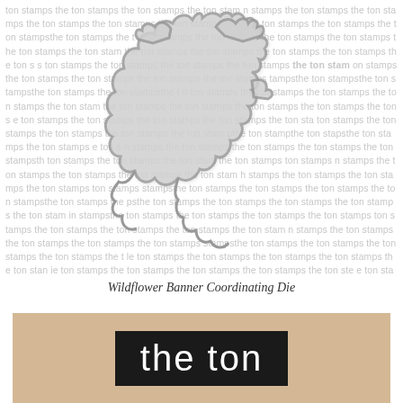[Figure (illustration): Wildflower Banner Coordinating Die cut outline shown on a background of repeating watermark text reading 'the ton stamps'. The die is a grey outlined floral/leaf shape with jagged artistic edges.]
Wildflower Banner Coordinating Die
[Figure (photo): Bottom portion of a product photo showing a bokeh/blurred gold background with a dark rectangular label in the center reading 'the ton' in white sans-serif lowercase letters.]